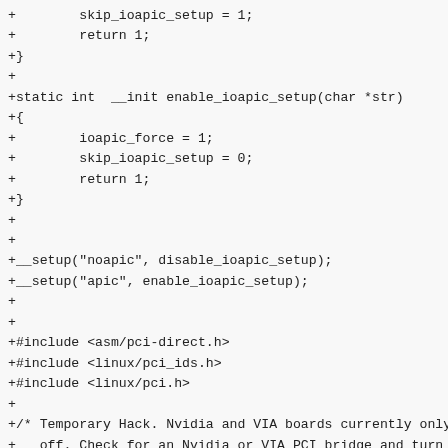+        skip_ioapic_setup = 1;
+        return 1;
+}
+
+static int __init enable_ioapic_setup(char *str)
+{
+        ioapic_force = 1;
+        skip_ioapic_setup = 0;
+        return 1;
+}
+
+
+__setup("noapic", disable_ioapic_setup);
+__setup("apic", enable_ioapic_setup);
+
+
+#include <asm/pci-direct.h>
+#include <linux/pci_ids.h>
+#include <linux/pci.h>
+
+/* Temporary Hack. Nvidia and VIA boards currently only work
+   off. Check for an Nvidia or VIA PCI bridge and turn it off
+   Use pci direct infrastructure because this runs before the
+
+   Can be overwritten with "apic"